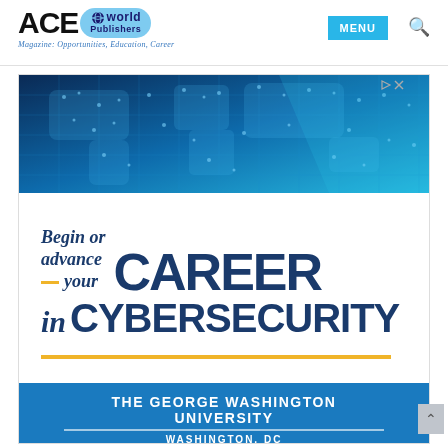[Figure (logo): ACE World Publishers logo with blue oval badge and tagline: Magazine: Opportunities, Education, Career]
MENU
[Figure (infographic): Advertisement banner: Begin or advance your CAREER in CYBERSECURITY - The George Washington University, Washington, DC. Top section shows blue digital world map, middle white section has the career text with gold dash accent and gold rule, bottom blue section has university name.]